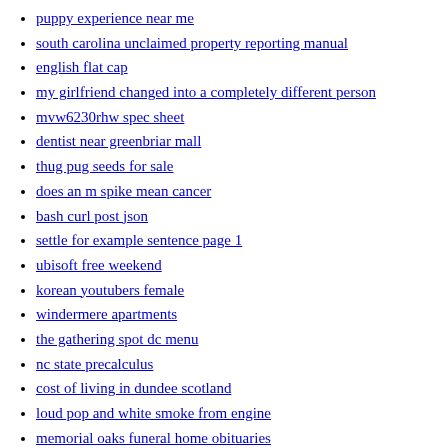puppy experience near me
south carolina unclaimed property reporting manual
english flat cap
my girlfriend changed into a completely different person
mvw6230rhw spec sheet
dentist near greenbriar mall
thug pug seeds for sale
does an m spike mean cancer
bash curl post json
settle for example sentence page 1
ubisoft free weekend
korean youtubers female
windermere apartments
the gathering spot dc menu
nc state precalculus
cost of living in dundee scotland
loud pop and white smoke from engine
memorial oaks funeral home obituaries
gilead descovy coupon
how to install seeker in termux
default pfp aesthetic
classic holden parts nz
which kpop idol died in 2020
14dpo symptoms mumsnet
datadog apm tracing